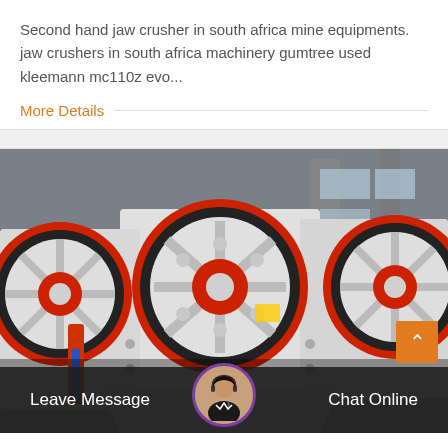Second hand jaw crusher in south africa mine equipments. jaw crushers in south africa machinery gumtree used kleemann mc110z evo...
More Details
[Figure (photo): Industrial jaw crushers with large red and black flywheel discs on white machinery bodies, inside a factory building. Multiple units visible in a row.]
Leave Message
Chat Online